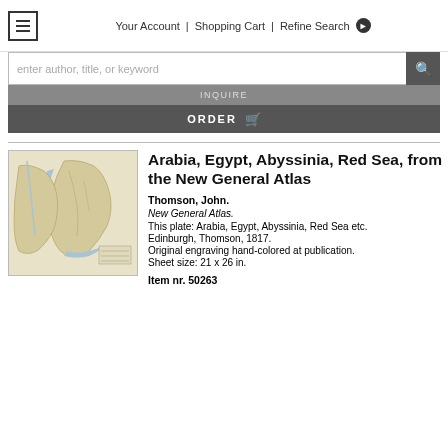≡  Your Account | Shopping Cart | Refine Search ▶
enter author, title, or keyword
INQUIRE
ORDER 🛒
[Figure (map): Historical map of Arabia, Egypt, Abyssinia, Red Sea region, engraved map with sepia/cream tones]
Arabia, Egypt, Abyssinia, Red Sea, from the New General Atlas
Thomson, John.
New General Atlas.
This plate: Arabia, Egypt, Abyssinia, Red Sea etc.
Edinburgh, Thomson, 1817.
Original engraving hand-colored at publication.
Sheet size: 21 x 26 in.
Item nr. 50263